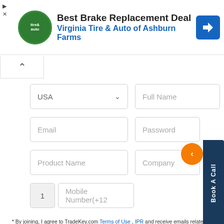[Figure (screenshot): Advertisement banner for Best Brake Replacement Deal at Virginia Tire & Auto of Ashburn Farms, with logo and navigation icon]
USA (dropdown)
Full Name
Email
Password
Product Name
Company
1
Mobile Number(+12
Book A Call
* By joining, I agree to TradeKey.com Terms of Use , IPR and receive emails related to our services.
Continue